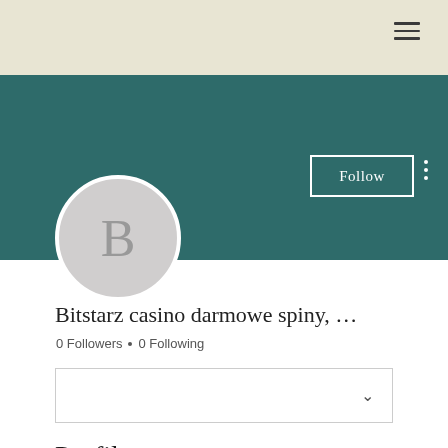[Figure (screenshot): Top beige navigation bar with hamburger menu icon on the right]
[Figure (screenshot): Teal/dark green profile cover section with Follow button and three-dot menu, and circular avatar with letter B]
Bitstarz casino darmowe spiny, …
0 Followers • 0 Following
[Figure (screenshot): Dropdown/selector box with chevron arrow on right side]
Profile
Join date: Jun 18, 2022